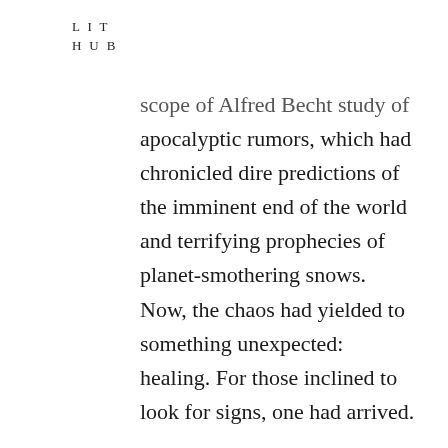L I T
H U B
scope of Alfred Becht study of apocalyptic rumors, which had chronicled dire predictions of the imminent end of the world and terrifying prophecies of planet-smothering snows. Now, the chaos had yielded to something unexpected: healing. For those inclined to look for signs, one had arrived.